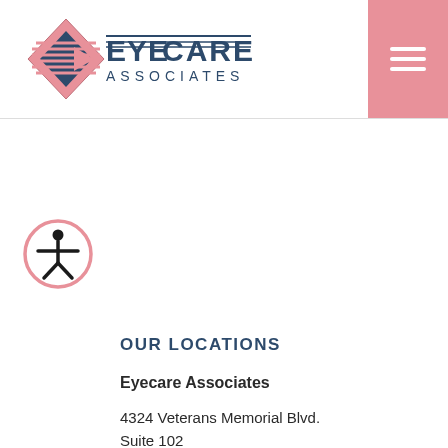[Figure (logo): Eyecare Associates logo with diamond shape and horizontal lines forming an eye graphic, with 'EYECARE ASSOCIATES' text in teal/dark blue]
[Figure (other): Hamburger menu button (three horizontal lines) on pink/salmon background]
[Figure (other): Accessibility icon — person with arms outstretched inside a circle, pink outline]
OUR LOCATIONS
Eyecare Associates
4324 Veterans Memorial Blvd.
Suite 102
Metairie, LA 70006